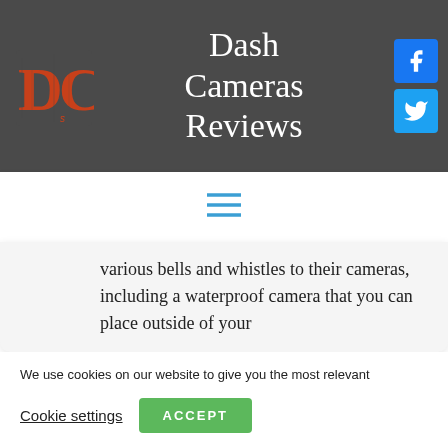Dash Cameras Reviews
[Figure (logo): DC logo in orange distressed style]
[Figure (logo): Facebook icon - blue square with white f]
[Figure (logo): Twitter icon - blue square with white bird]
[Figure (infographic): Hamburger menu icon with three blue horizontal lines]
various bells and whistles to their cameras, including a waterproof camera that you can place outside of your
We use cookies on our website to give you the most relevant experience by remembering your preferences and repeat visits. By clicking “Accept”, you consent to the use of ALL the cookies.
Cookie settings
ACCEPT